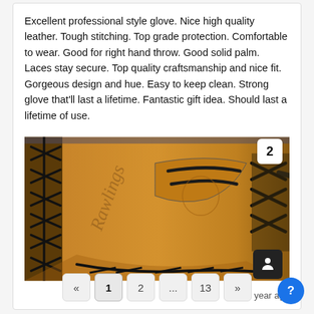Excellent professional style glove. Nice high quality leather. Tough stitching. Top grade protection. Comfortable to wear. Good for right hand throw. Good solid palm. Laces stay secure. Top quality craftsmanship and nice fit. Gorgeous design and hue. Easy to keep clean. Strong glove that'll last a lifetime. Fantastic gift idea. Should last a lifetime of use.
[Figure (photo): Close-up photo of a tan/brown Rawlings baseball glove with black laces, showing the palm side with logo and stitching details. A badge showing '2' appears in the top right corner, and a user icon button in the bottom right.]
1 year ago
« 1 2 ... 13 »